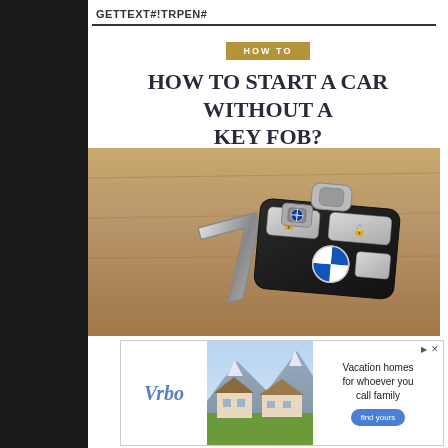GETTEXT#!TRPEN#
HOW TO
HOW TO START A CAR WITHOUT A KEY FOB?
[Figure (photo): A BMW key fob and a BMW 7 series metal keychain lying on a wooden surface]
[Figure (infographic): Vrbo advertisement banner with mountain vacation home image, Vrbo logo, text 'Vacation homes for whoever you call family', and a 'find yours' button]